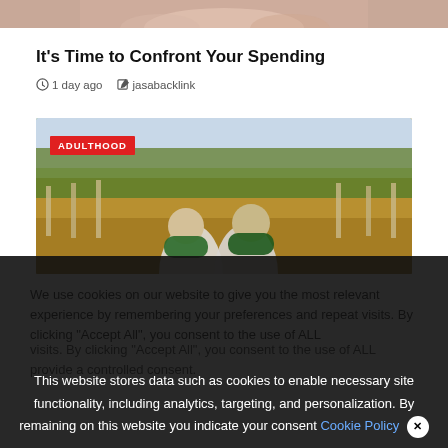[Figure (photo): Top cropped photo of a person, partially visible at the top of the page]
It's Time to Confront Your Spending
1 day ago   jasabacklink
[Figure (photo): Photo of two people with green scarves seen from behind, looking at a rural landscape with fence posts and golden grass. Badge reads ADULTHOOD.]
We use cookies on our website to give you the most relevant experience by remembering your preferences and repeat visits. By clicking "Accept All", you consent to the use of ALL provide a controlled consent.
This website stores data such as cookies to enable necessary site functionality, including analytics, targeting, and personalization. By remaining on this website you indicate your consent Cookie Policy